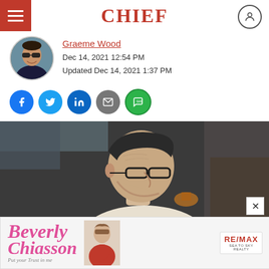CHIEF
Graeme Wood
Dec 14, 2021 12:54 PM
Updated Dec 14, 2021 1:37 PM
[Figure (photo): Profile photo of man with sunglasses (Graeme Wood)]
[Figure (infographic): Social share buttons: Facebook, Twitter, LinkedIn, Email, SMS]
[Figure (photo): Black and white photo of older man in glasses looking to the side, outdoors near a building]
[Figure (advertisement): Beverly Chiasson RE/MAX real estate advertisement with tagline 'Put your Trust in me']